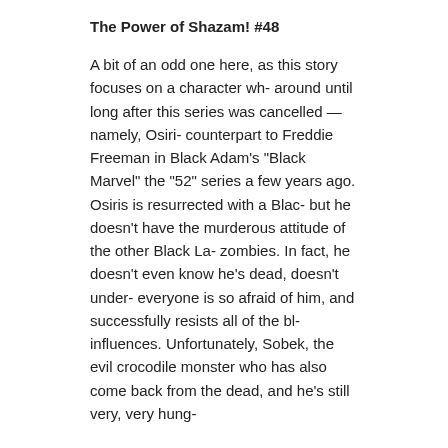The Power of Shazam! #48
A bit of an odd one here, as this story focuses on a character wh- around until long after this series was cancelled — namely, Osiri- counterpart to Freddie Freeman in Black Adam's "Black Marvel" the "52" series a few years ago. Osiris is resurrected with a Blac- but he doesn't have the murderous attitude of the other Black La- zombies. In fact, he doesn't even know he's dead, doesn't under- everyone is so afraid of him, and successfully resists all of the bl- influences. Unfortunately, Sobek, the evil crocodile monster who has also come back from the dead, and he's still very, very hung-
Verdict: Thumbs up. It was weird to have a story where one of th- Lanterns wasn't evil, and it was weird to have a Captain Marvel- Captain Marvel only appeared in civilian guise on a single page, anyway. Osiris was a cool character, and it's nice to get to see h- even if he's all withered and rotten...
Comments off
January 25, 2010 · Filed under: Blackest Night, Captain M...